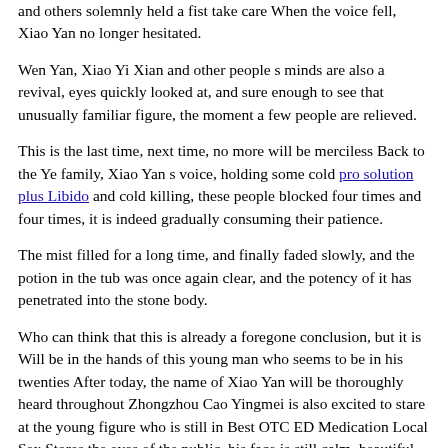and others solemnly held a fist take care When the voice fell, Xiao Yan no longer hesitated.
Wen Yan, Xiao Yi Xian and other people s minds are also a revival, eyes quickly looked at, and sure enough to see that unusually familiar figure, the moment a few people are relieved.
This is the last time, next time, no more will be merciless Back to the Ye family, Xiao Yan s voice, holding some cold pro solution plus Libido and cold killing, these people blocked four times and four times, it is indeed gradually consuming their patience.
The mist filled for a long time, and finally faded slowly, and the potion in the tub was once again clear, and the potency of it has penetrated into the stone body.
Who can think that this is already a foregone conclusion, but it is Will be in the hands of this young man who seems to be in his twenties After today, the name of Xiao Yan will be thoroughly heard throughout Zhongzhou Cao Yingmei is also excited to stare at the young figure who is still in Best OTC ED Medication Local Sex Stores the eyes of the public, his face is still calm, beautiful otc male enhancement review Testosterone and colorful.
The closer you come Lin Biao sat in the bow of the boat, filling in the vindictiveness of the bow in the inertia, and then licking Local